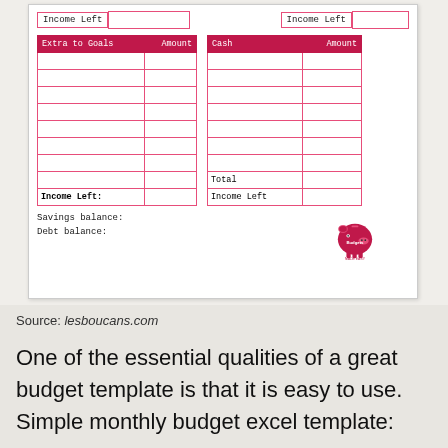[Figure (other): Budget template form showing 'Extra to Goals' and 'Cash' tables with pink headers and rows, Income Left fields, Savings balance and Debt balance labels, and a Budgets Made Easy piggy bank logo.]
Source: lesboucans.com
One of the essential qualities of a great budget template is that it is easy to use. Simple monthly budget excel template: